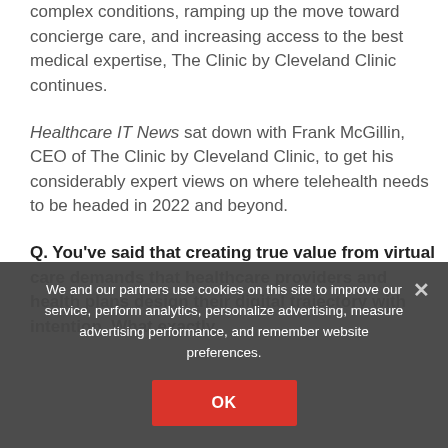complex conditions, ramping up the move toward concierge care, and increasing access to the best medical expertise, The Clinic by Cleveland Clinic continues.
Healthcare IT News sat down with Frank McGillin, CEO of The Clinic by Cleveland Clinic, to get his considerably expert views on where telehealth needs to be headed in 2022 and beyond.
Q. You've said that creating true value from virtual care demands that healthcare providers and health plans design their digital trajectory with intention. What exactly
We and our partners use cookies on this site to improve our service, perform analytics, personalize advertising, measure advertising performance, and remember website preferences.
OK